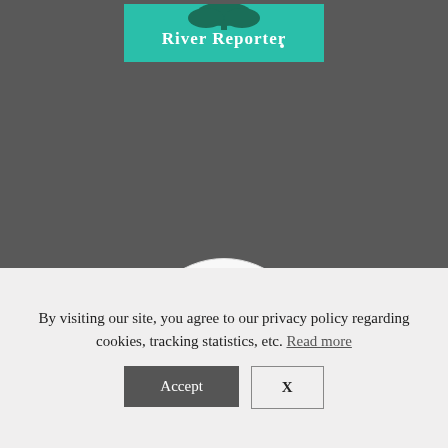[Figure (logo): River Reporter newspaper logo — teal/green banner with tree illustration and 'River Reporter' text in white serif font]
[Figure (illustration): LGBTQ+ Friendly Wedding Venue badge — circular badge with arc text 'HERE COMES THE GUIDE WEDDING VENUE' and colorful LGBTQ+ FRIENDLY text]
By visiting our site, you agree to our privacy policy regarding cookies, tracking statistics, etc. Read more
Accept
X